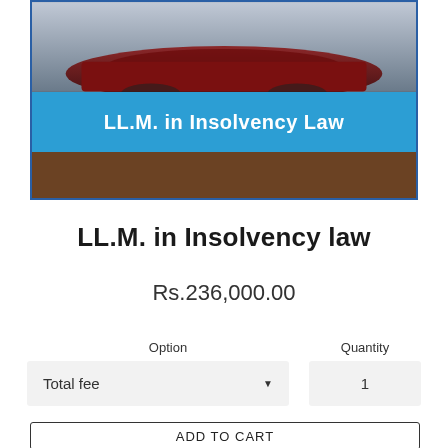[Figure (photo): Product image showing a car photo at top, blue banner with 'LL.M. in Insolvency Law' text, and brown area below]
LL.M. in Insolvency law
Rs.236,000.00
Option  Quantity
Total fee  1
ADD TO CART